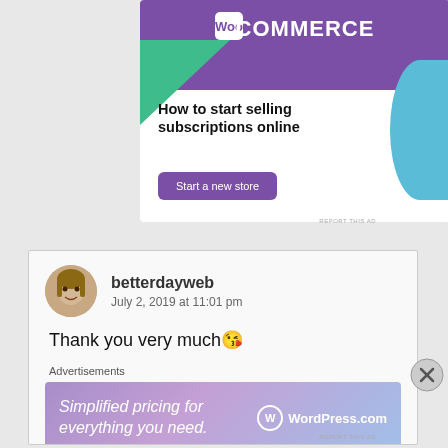[Figure (screenshot): WooCommerce advertisement banner: purple header with WooCommerce logo, green triangle shape, blue curved shape, text 'How to start selling subscriptions online', purple 'Start a new store' button]
REPORT THIS AD
[Figure (screenshot): Blog comment section with avatar of a woman, username 'betterdayweb', date 'July 2, 2019 at 11:01 pm', comment text 'Thank you very much 😘', and WordPress.com advertisement below]
Advertisements
[Figure (screenshot): WordPress.com advertisement: gradient purple/blue background, text 'Simplified pricing for everything you need.' with WordPress.com logo]